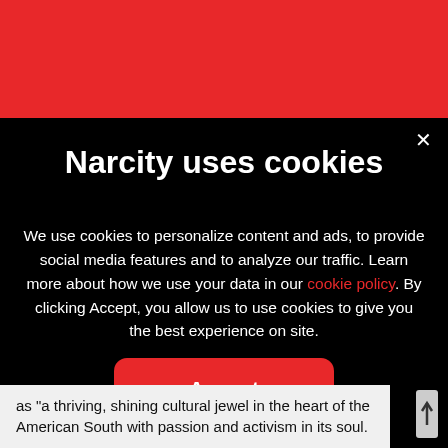[Figure (screenshot): Red header bar of Narcity website]
Narcity uses cookies
We use cookies to personalize content and ads, to provide social media features and to analyze our traffic. Learn more about how we use your data in our cookie policy. By clicking Accept, you allow us to use cookies to give you the best experience on site.
Accept
as "a thriving, shining cultural jewel in the heart of the American South with passion and activism in its soul.